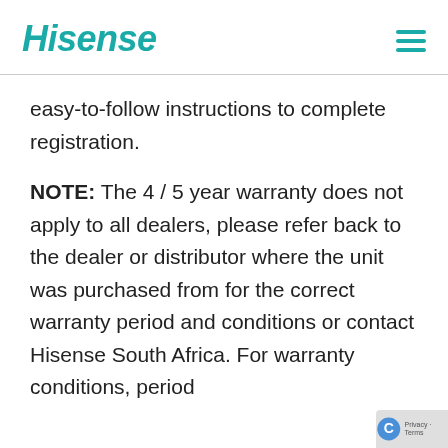Hisense
easy-to-follow instructions to complete registration.
NOTE: The 4 / 5 year warranty does not apply to all dealers, please refer back to the dealer or distributor where the unit was purchased from for the correct warranty period and conditions or contact Hisense South Africa. For warranty conditions, period